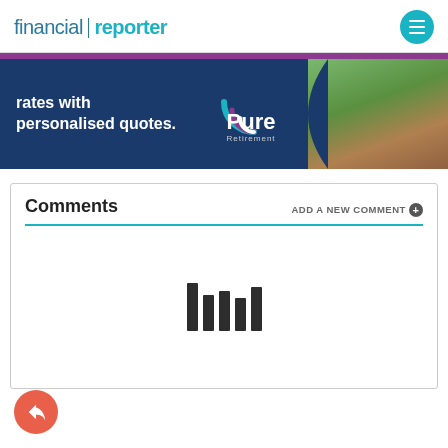financial reporter
[Figure (infographic): Pure Retirement advertisement banner with text 'rates with personalised quotes.' and Pure Retirement logo on dark blue background with photo of people gardening]
Comments
ADD A NEW COMMENT +
[Figure (other): Loading bars icon showing content loading state]